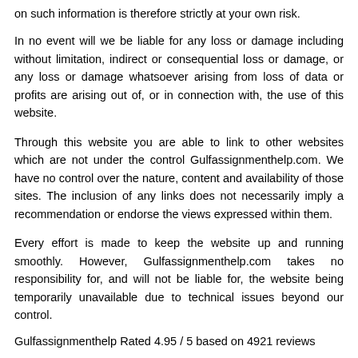on such information is therefore strictly at your own risk.
In no event will we be liable for any loss or damage including without limitation, indirect or consequential loss or damage, or any loss or damage whatsoever arising from loss of data or profits are arising out of, or in connection with, the use of this website.
Through this website you are able to link to other websites which are not under the control Gulfassignmenthelp.com. We have no control over the nature, content and availability of those sites. The inclusion of any links does not necessarily imply a recommendation or endorse the views expressed within them.
Every effort is made to keep the website up and running smoothly. However, Gulfassignmenthelp.com takes no responsibility for, and will not be liable for, the website being temporarily unavailable due to technical issues beyond our control.
Gulfassignmenthelp Rated 4.95 / 5 based on 4921 reviews